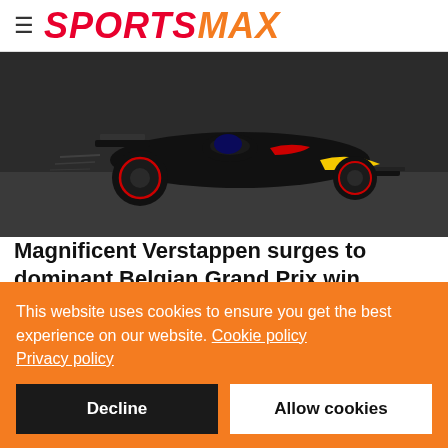SPORTSMAX
[Figure (photo): Red Bull Formula 1 car driven by Max Verstappen on a racing circuit, dark colored car with yellow and red livery]
Magnificent Verstappen surges to dominant Belgian Grand Prix win
August 28, 2022
This website uses cookies to ensure you get the best experience on our website. Cookie policy Privacy policy
Decline
Allow cookies